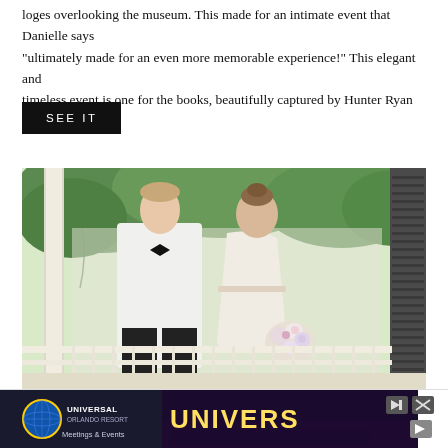loges overlooking the museum. This made for an intimate event that Danielle says “ultimately made for an even more memorable experience!” This elegant and timeless event is one for the books, beautifully captured by Hunter Ryan Photo!
SEE IT
[Figure (photo): Wedding couple portrait on a porch. Groom in white tuxedo jacket with black bow tie and black trousers, bride in sleeveless beaded white gown with floral bouquet. Green trees visible in background.]
[Figure (infographic): Advertisement banner for Universal Orlando Resort Meetings & Events. Shows Universal globe logo on dark background on the left, and UNIVERS text in yellow on dark purple/night background on the right with group of people.]